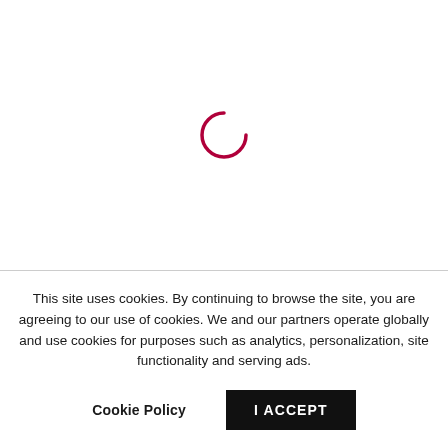[Figure (other): A loading spinner arc in dark red/crimson color, showing a partial circle arc indicating a page loading state]
This site uses cookies. By continuing to browse the site, you are agreeing to our use of cookies. We and our partners operate globally and use cookies for purposes such as analytics, personalization, site functionality and serving ads.
Cookie Policy
I ACCEPT